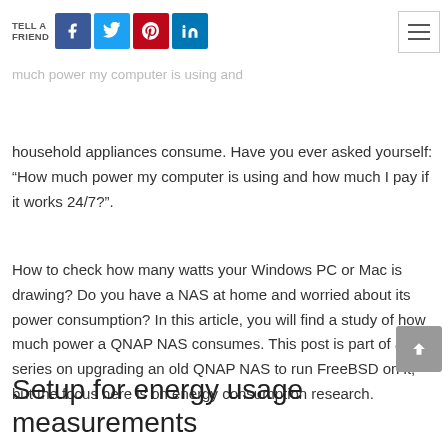TELL A FRIEND [Facebook] [Twitter] [Pinterest] [LinkedIn]
household appliances consume. Have you ever asked yourself: “How much power my computer is using and how much I pay if it works 24/7?”.
How to check how many watts your Windows PC or Mac is drawing? Do you have a NAS at home and worried about its power consumption? In this article, you will find a study of how much power a QNAP NAS consumes. This post is part of a series on upgrading an old QNAP NAS to run FreeBSD on it, but the focus here is on energy consumption research.
Setup for energy usage measurements